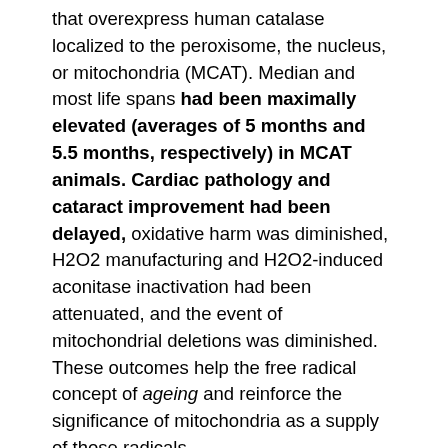that overexpress human catalase localized to the peroxisome, the nucleus, or mitochondria (MCAT). Median and most life spans had been maximally elevated (averages of 5 months and 5.5 months, respectively) in MCAT animals. Cardiac pathology and cataract improvement had been delayed, oxidative harm was diminished, H2O2 manufacturing and H2O2-induced aconitase inactivation had been attenuated, and the event of mitochondrial deletions was diminished. These outcomes help the free radical concept of ageing and reinforce the significance of mitochondria as a supply of those radicals.
Genetic inhibition of autophagy induces degenerative modifications in mammalian tissues that resemble these related to ageing, and regular and pathological ageing are sometimes related to a diminished autophagic potential. Pharmacological or